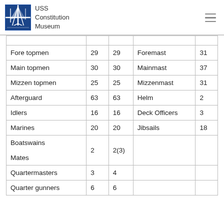USS Constitution Museum
|  |  |  |  |  |
| --- | --- | --- | --- | --- |
| Fore topmen | 29 | 29 | Foremast | 31 |
| Main topmen | 30 | 30 | Mainmast | 37 |
| Mizzen topmen | 25 | 25 | Mizzenmast | 31 |
| Afterguard | 63 | 63 | Helm | 2 |
| Idlers | 16 | 16 | Deck Officers | 3 |
| Marines | 20 | 20 | Jibsails | 18 |
| Boatswains
Mates | 2 | 2(3) |  |  |
| Quartermasters | 3 | 4 |  |  |
| Quarter gunners | 6 | 6 |  |  |